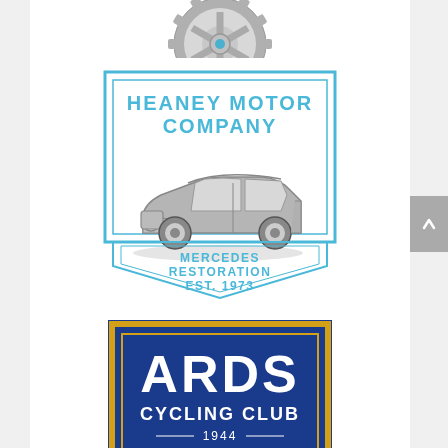[Figure (logo): Grey gear/sprocket logo at top, partially cut off at top edge]
[Figure (logo): Heaney Motor Company badge logo: blue rectangular border with inner frame, text 'HEANEY MOTOR COMPANY' in blue at top, grey vintage convertible car illustration in center, lower chevron/shield shape with text 'MERCEDES RESTORATION EST. 1973' in blue]
[Figure (logo): Ards Cycling Club logo: dark blue rectangle with gold/yellow border, large white text 'ARDS' and smaller 'CYCLING CLUB' with '1944' below, partially cut off at bottom]